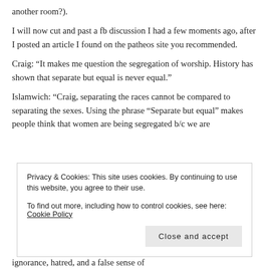another room?).
I will now cut and past a fb discussion I had a few moments ago, after I posted an article I found on the patheos site you recommended.
Craig: “It makes me question the segregation of worship. History has shown that separate but equal is never equal.”

Islamwich: “Craig, separating the races cannot be compared to separating the sexes. Using the phrase “Separate but equal” makes people think that women are being segregated b/c we are
Privacy & Cookies: This site uses cookies. By continuing to use this website, you agree to their use.
To find out more, including how to control cookies, see here: Cookie Policy
Close and accept
ignorance, hatred, and a false sense of